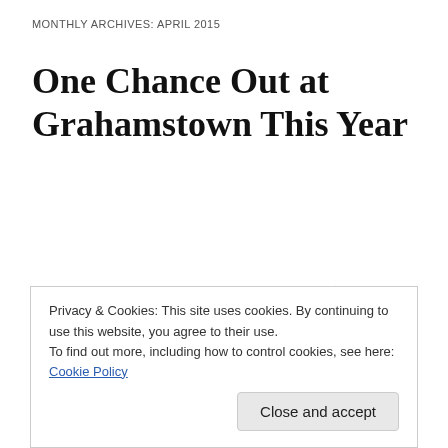MONTHLY ARCHIVES: APRIL 2015
One Chance Out at Grahamstown This Year
We will NOT be at NAF this year. Sorry. (Possibly next year, but 2015 we thought let’s give “Piet” and “Tobacco” their time in the winter sun.)
Privacy & Cookies: This site uses cookies. By continuing to use this website, you agree to their use.
To find out more, including how to control cookies, see here: Cookie Policy
Close and accept